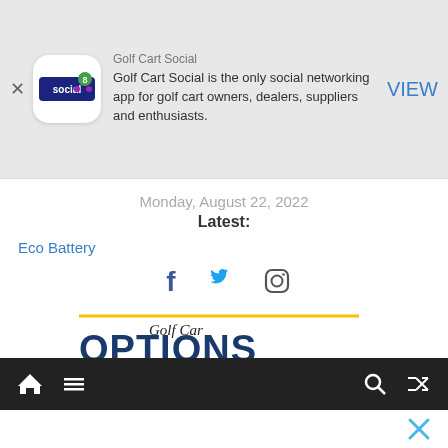[Figure (screenshot): App advertisement banner for Golf Cart Social app. Shows app icon with 'social' branding, description text, and VIEW button.]
Golf Cart Social is the only social networking app for golf cart owners, dealers, suppliers and enthusiasts.
Monday, August 22, 2022
Latest:
Eco Battery
[Figure (other): Social media icons: Facebook, Twitter, Instagram]
[Figure (logo): Golf Car Options Magazine logo with yellow underline accents and script/bold typography]
[Figure (other): Golf Car Classics advertisement banner. Green background with book cover image, text: Golf Car Classics, A Comphrensive History Of Golf Cars By Ron Lyons, Click To Order. Right side: Shop Here For Golf Car Related Merchandise]
[Figure (other): Mobile app navigation bar with home, menu, search, and shuffle icons on dark background]